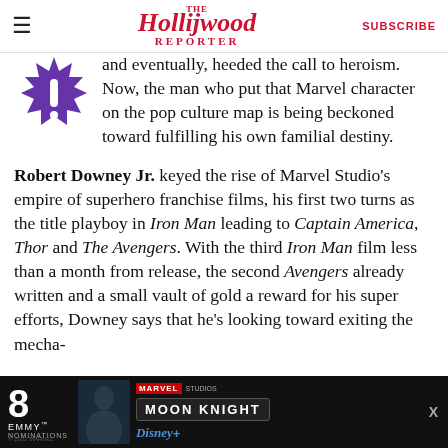The Hollywood Reporter | SUBSCRIBE
[Figure (illustration): Purple starburst/explosion icon with white exclamation mark in the center]
and eventually, heeded the call to heroism. Now, the man who put that Marvel character on the pop culture map is being beckoned toward fulfilling his own familial destiny.
Robert Downey Jr. keyed the rise of Marvel Studio's empire of superhero franchise films, his first two turns as the title playboy in Iron Man leading to Captain America, Thor and The Avengers. With the third Iron Man film less than a month from release, the second Avengers already written and a small vault of gold a reward for his super efforts, Downey says that he's looking toward exiting the mecha-
[Figure (infographic): Advertisement banner for Moon Knight on Disney+, featuring 8 Emmy Nominations text, an actor photo, and Marvel Studios / Disney+ branding]